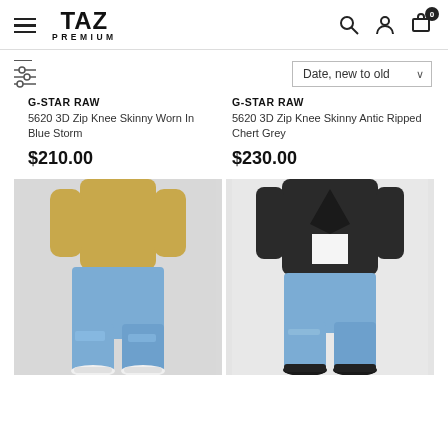TAZ PREMIUM
G-STAR RAW
5620 3D Zip Knee Skinny Worn In Blue Storm
$210.00
G-STAR RAW
5620 3D Zip Knee Skinny Antic Ripped Chert Grey
$230.00
[Figure (photo): Man wearing light blue distressed skinny jeans with white sneakers and yellow shirt]
[Figure (photo): Man wearing light blue skinny jeans with dark jacket and black boots]